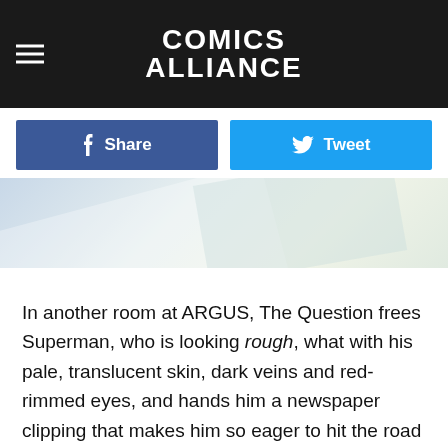[Figure (logo): Comics Alliance website header with hamburger menu icon on left and COMICS ALLIANCE logo text centered on dark background]
[Figure (other): Social share buttons row: Facebook Share button (dark blue) and Twitter Tweet button (light blue)]
[Figure (photo): Light blue/grey banner image with diagonal light rays or architectural elements]
In another room at ARGUS, The Question frees Superman, who is looking rough, what with his pale, translucent skin, dark veins and red-rimmed eyes, and hands him a newspaper clipping that makes him so eager to hit the road that he punches his cell door open, knocking Cyborg and a bunch of ARGUS guys down with it.
The clipping?